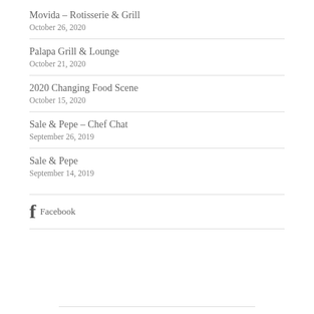Movida – Rotisserie & Grill
October 26, 2020
Palapa Grill & Lounge
October 21, 2020
2020 Changing Food Scene
October 15, 2020
Sale & Pepe – Chef Chat
September 26, 2019
Sale & Pepe
September 14, 2019
Facebook